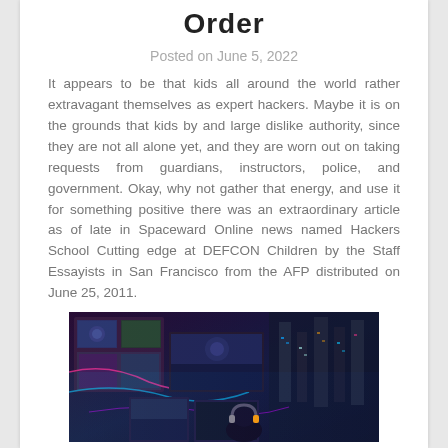Order
Posted on June 5, 2022
It appears to be that kids all around the world rather extravagant themselves as expert hackers. Maybe it is on the grounds that kids by and large dislike authority, since they are not all alone yet, and they are worn out on taking requests from guardians, instructors, police, and government. Okay, why not gather that energy, and use it for something positive there was an extraordinary article as of late in Spaceward Online news named Hackers School Cutting edge at DEFCON Children by the Staff Essayists in San Francisco from the AFP distributed on June 25, 2011.
[Figure (photo): A cyberpunk-style scene showing multiple computer monitors and screens in a dark, neon-lit environment with a person wearing headphones visible in the foreground.]